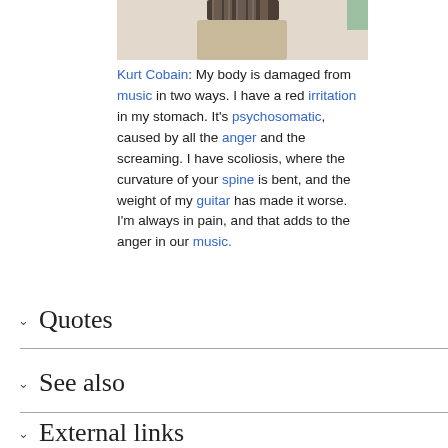[Figure (photo): Partial photograph showing what appears to be the top of a guitar or musical instrument on a light-colored surface, with dark mechanical components visible at the top of the frame.]
Kurt Cobain: My body is damaged from music in two ways. I have a red irritation in my stomach. It's psychosomatic, caused by all the anger and the screaming. I have scoliosis, where the curvature of your spine is bent, and the weight of my guitar has made it worse. I'm always in pain, and that adds to the anger in our music.
Quotes
See also
External links